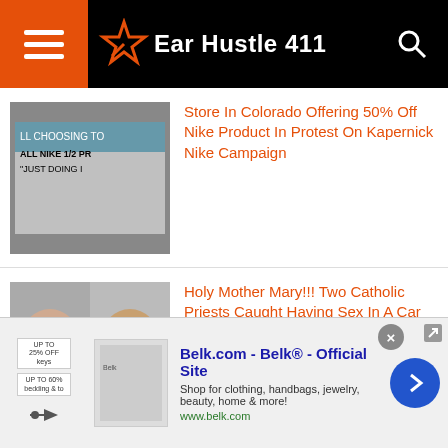Ear Hustle 411
Store In Colorado Offering 50% Off Nike Product In Protest On Kapernick Nike Campaign
Holy Mother Mary!!! Two Catholic Priests Caught Having Sex In A Car By A Playground Near Miami
Former Cosby Show Actor Jeffrey Owens “Elvin” Has Quit The Grocery Store & Has Landed A Job With Tyler
[Figure (screenshot): Belk.com advertisement banner: Belk® - Official Site - Shop for clothing, handbags, jewelry, beauty, home & more! www.belk.com]